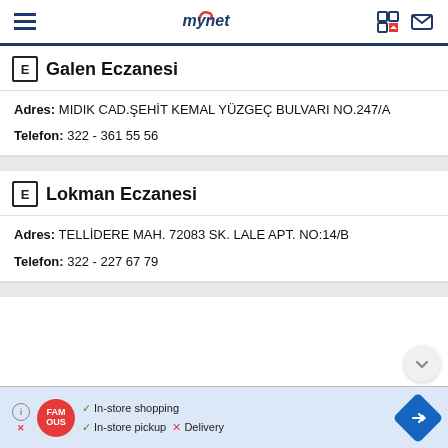mynet
E Galen Eczanesi
Adres: MIDIK CAD.ŞEHİT KEMAL YÜZGEÇ BULVARI NO.247/A
Telefon: 322 - 361 55 56
E Lokman Eczanesi
Adres: TELLİDERE MAH. 72083 SK. LALE APT. NO:14/B
Telefon: 322 - 227 67 79
[Figure (screenshot): Advertisement banner: FAMOUS logo with In-store shopping, In-store pickup checkmarks and Delivery cross mark, with blue directional arrow icon]